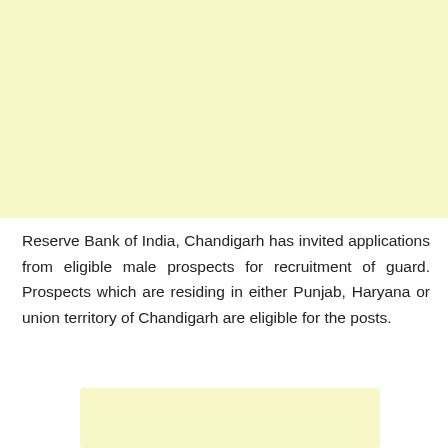[Figure (other): Large light yellow background area at top of page]
Reserve Bank of India, Chandigarh has invited applications from eligible male prospects for recruitment of guard. Prospects which are residing in either Punjab, Haryana or union territory of Chandigarh are eligible for the posts.
[Figure (other): Small light yellow rounded rectangle at bottom of page]